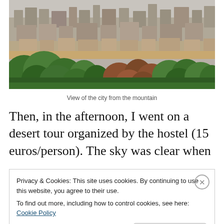[Figure (photo): Aerial/panoramic view of a city with buildings and green trees in the foreground, seen from a mountain vantage point. The city spreads across the background with numerous mid-rise buildings; brown arid land and a belt of green trees fill the middle ground.]
View of the city from the mountain
Then, in the afternoon, I went on a desert tour organized by the hostel (15 euros/person). The sky was clear when
Privacy & Cookies: This site uses cookies. By continuing to use this website, you agree to their use.
To find out more, including how to control cookies, see here: Cookie Policy
Close and accept